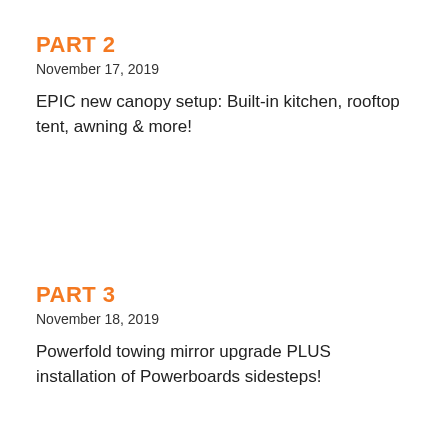PART 2
November 17, 2019
EPIC new canopy setup: Built-in kitchen, rooftop tent, awning & more!
PART 3
November 18, 2019
Powerfold towing mirror upgrade PLUS installation of Powerboards sidesteps!